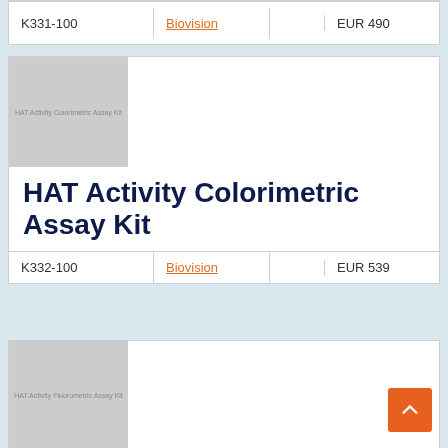| Code | Vendor |  | Price |
| --- | --- | --- | --- |
| K331-100 | Biovision |  | EUR 490 |
[Figure (photo): Product image placeholder for HAT Activity Colorimetric Assay Kit]
HAT Activity Colorimetric Assay Kit
| Code | Vendor |  | Price |
| --- | --- | --- | --- |
| K332-100 | Biovision |  | EUR 539 |
[Figure (photo): Product image placeholder for HAT Activity Fluorometric Assay Kit]